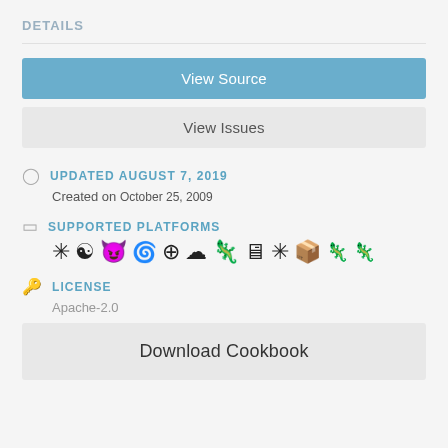DETAILS
View Source
View Issues
UPDATED AUGUST 7, 2019
Created on October 25, 2009
SUPPORTED PLATFORMS
[Figure (infographic): Row of platform icons: snowflake/asterisk, yin-yang, devil/FreeBSD, Debian swirl, Ubuntu/Linux circle, cloud, SUSE lizard/gecko, monitor, sun/asterisk, cube/box, SUSE chameleon, SUSE chameleon dark]
LICENSE
Apache-2.0
Download Cookbook